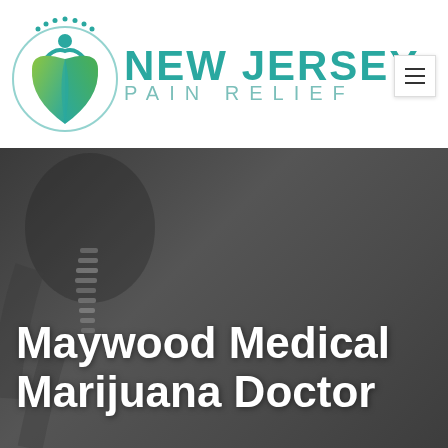[Figure (logo): New Jersey Pain Relief logo with green leaf/person emblem and teal text]
Maywood Medical Marijuana Doctor